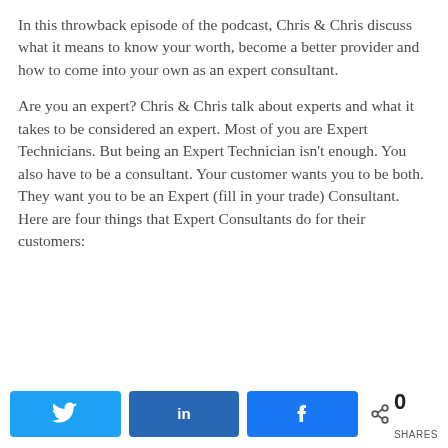In this throwback episode of the podcast, Chris & Chris discuss what it means to know your worth, become a better provider and how to come into your own as an expert consultant.
Are you an expert? Chris & Chris talk about experts and what it takes to be considered an expert. Most of you are Expert Technicians. But being an Expert Technician isn't enough. You also have to be a consultant. Your customer wants you to be both. They want you to be an Expert (fill in your trade) Consultant. Here are four things that Expert Consultants do for their customers:
[Figure (infographic): Social sharing bar with Twitter, LinkedIn, and Facebook buttons, and a share count showing 0 SHARES.]